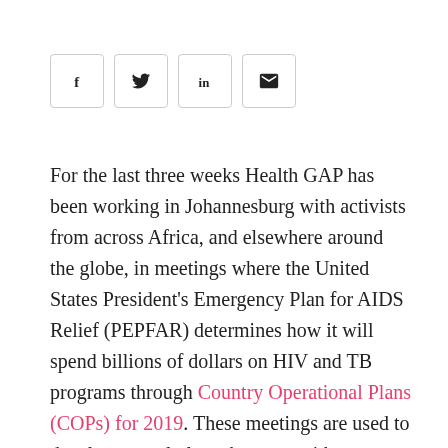[Figure (other): Social sharing icons: Facebook (f), Twitter (bird/y), LinkedIn (in), Email (envelope) — each in a rounded rectangle box]
For the last three weeks Health GAP has been working in Johannesburg with activists from across Africa, and elsewhere around the globe, in meetings where the United States President's Emergency Plan for AIDS Relief (PEPFAR) determines how it will spend billions of dollars on HIV and TB programs through Country Operational Plans (COPs) for 2019. These meetings are used to develop annual plans that start with a detailed review of the